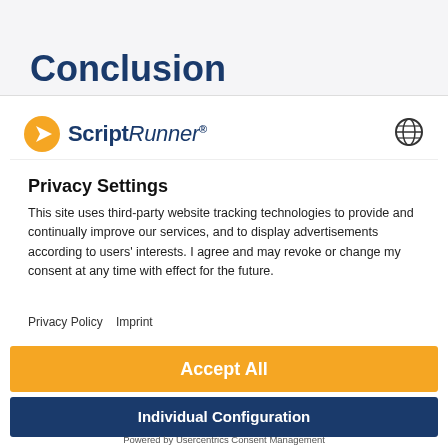Conclusion
[Figure (logo): ScriptRunner logo with orange arrow icon and globe icon on right]
Privacy Settings
This site uses third-party website tracking technologies to provide and continually improve our services, and to display advertisements according to users' interests. I agree and may revoke or change my consent at any time with effect for the future.
Privacy Policy   Imprint
Accept All
Individual Configuration
Powered by Usercentrics Consent Management